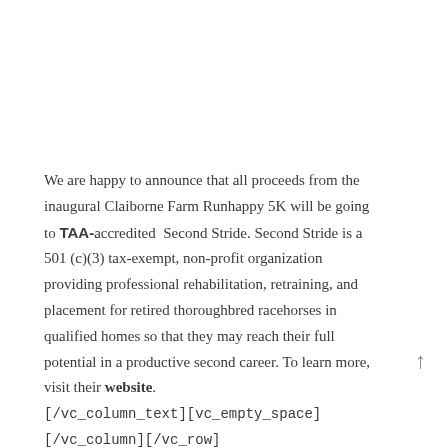We are happy to announce that all proceeds from the inaugural Claiborne Farm Runhappy 5K will be going to TAA-accredited  Second Stride. Second Stride is a 501 (c)(3) tax-exempt, non-profit organization providing professional rehabilitation, retraining, and placement for retired thoroughbred racehorses in qualified homes so that they may reach their full potential in a productive second career. To learn more, visit their website. [/vc_column_text][vc_empty_space] [/vc_column][/vc_row]